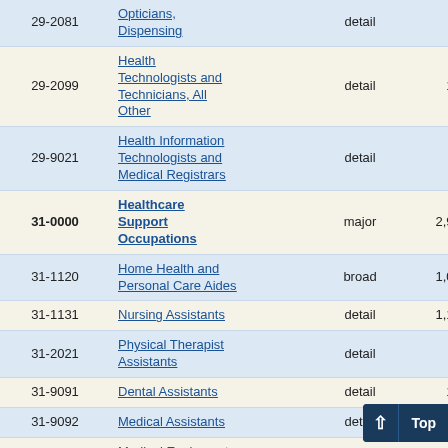| Code | Occupation Title | Level | Employment | (truncated) |
| --- | --- | --- | --- | --- |
| 29-2081 | Opticians, Dispensing | detail | 50 | 11... |
| 29-2099 | Health Technologists and Technicians, All Other | detail | 110 | 6... |
| 29-9021 | Health Information Technologists and Medical Registrars | detail | 30 | 4... |
| 31-0000 | Healthcare Support Occupations | major | 2,940 | 2... |
| 31-1120 | Home Health and Personal Care Aides | broad | 1,010 | 6... |
| 31-1131 | Nursing Assistants | detail | 1,170 | 7... |
| 31-2021 | Physical Therapist Assistants | detail | 40 | 32... |
| 31-9091 | Dental Assistants | detail | 190 | 4... |
| 31-9092 | Medical Assistants | detail | 210 | 10... |
| 31-9093 | Medical Equipment Preparers | detail | 30 | 17... |
| 31-9094 | Medical Transcriptionists | detail | 5... |  |